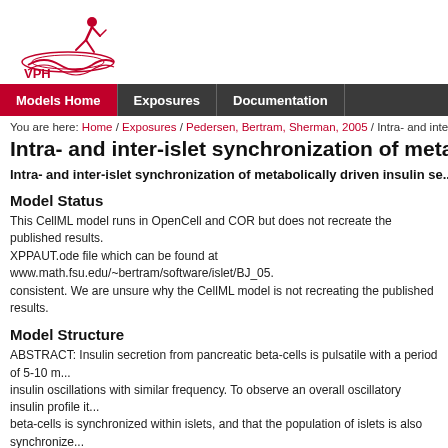[Figure (logo): PMR/VPH red figure logo with DNA helix and runner silhouette]
Models Home | Exposures | Documentation
You are here: Home / Exposures / Pedersen, Bertram, Sherman, 2005 / Intra- and inter-islet synchr...
Intra- and inter-islet synchronization of metabolica...
Intra- and inter-islet synchronization of metabolically driven insulin se...
Model Status
This CellML model runs in OpenCell and COR but does not recreate the published results. XPPAUT.ode file which can be found at www.math.fsu.edu/~bertram/software/islet/BJ_05. consistent. We are unsure why the CellML model is not recreating the published results.
Model Structure
ABSTRACT: Insulin secretion from pancreatic beta-cells is pulsatile with a period of 5-10 m... insulin oscillations with similar frequency. To observe an overall oscillatory insulin profile it... beta-cells is synchronized within islets, and that the population of islets is also synchronize... pulsatile insulin secretion is produced as a result of calcium-driven electrical oscillations in... this model to investigate possible mechanisms for intra-islet and inter-islet synchronization... synchronize both electrical bursting activity and metabolic oscillations. We also demonstra... each other by their effects on a simple model "liver," which responds to the level of insulin... concentration in an appropriate way. Since all islets are exposed to the blood, the distrib...